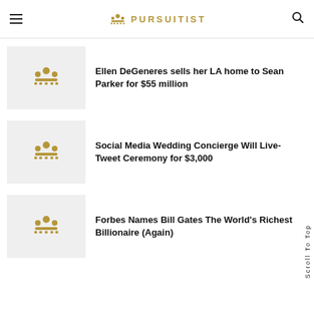PURSUITIST
Ellen DeGeneres sells her LA home to Sean Parker for $55 million
Social Media Wedding Concierge Will Live-Tweet Ceremony for $3,000
Forbes Names Bill Gates The World's Richest Billionaire (Again)